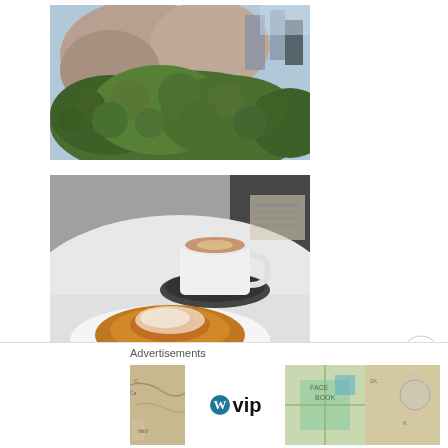[Figure (photo): Outdoor scene showing large rocks and lush green ivy/hedge vegetation with buildings in the background]
[Figure (photo): A cappuccino or latte coffee in a white cup on a saucer placed on a white table, with a pastry (ensaimada or similar powdered sugar pastry) in the foreground]
Advertisements
[Figure (other): WordPress VIP advertisement banner with map background imagery and a 'Learn more' button with arrow]